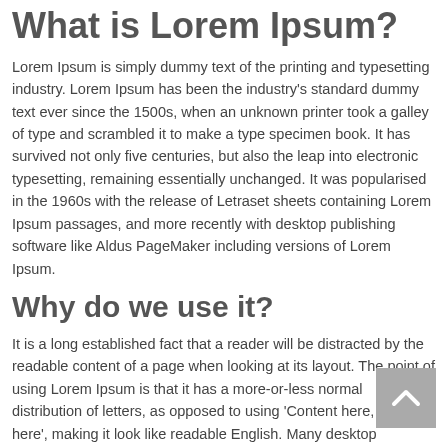What is Lorem Ipsum?
Lorem Ipsum is simply dummy text of the printing and typesetting industry. Lorem Ipsum has been the industry's standard dummy text ever since the 1500s, when an unknown printer took a galley of type and scrambled it to make a type specimen book. It has survived not only five centuries, but also the leap into electronic typesetting, remaining essentially unchanged. It was popularised in the 1960s with the release of Letraset sheets containing Lorem Ipsum passages, and more recently with desktop publishing software like Aldus PageMaker including versions of Lorem Ipsum.
Why do we use it?
It is a long established fact that a reader will be distracted by the readable content of a page when looking at its layout. The point of using Lorem Ipsum is that it has a more-or-less normal distribution of letters, as opposed to using 'Content here, content here', making it look like readable English. Many desktop publishing packages and web page editors now use Lorem Ipsum as their default model text, and a search for 'lorem ipsum' will